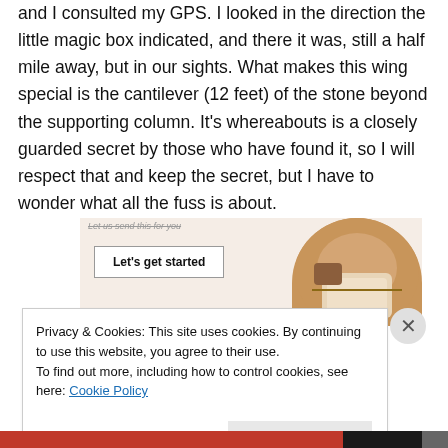and I consulted my GPS. I looked in the direction the little magic box indicated, and there it was, still a half mile away, but in our sights. What makes this wing special is the cantilever (12 feet) of the stone beyond the supporting column. It's whereabouts is a closely guarded secret by those who have found it, so I will respect that and keep the secret, but I have to wonder what all the fuss is about.
[Figure (screenshot): Advertisement banner with 'Let's get started' button and image of person using phone/tablet]
Privacy & Cookies: This site uses cookies. By continuing to use this website, you agree to their use.
To find out more, including how to control cookies, see here: Cookie Policy
Close and accept